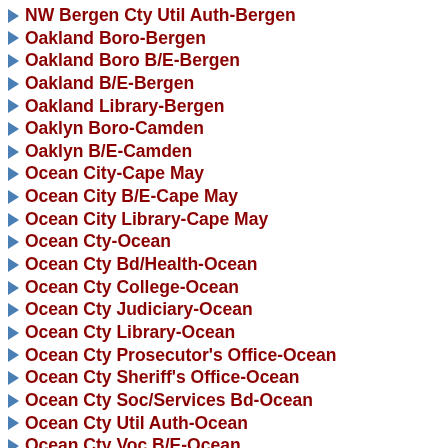NW Bergen Cty Util Auth-Bergen
Oakland Boro-Bergen
Oakland Boro B/E-Bergen
Oakland B/E-Bergen
Oakland Library-Bergen
Oaklyn Boro-Camden
Oaklyn B/E-Camden
Ocean City-Cape May
Ocean City B/E-Cape May
Ocean City Library-Cape May
Ocean Cty-Ocean
Ocean Cty Bd/Health-Ocean
Ocean Cty College-Ocean
Ocean Cty Judiciary-Ocean
Ocean Cty Library-Ocean
Ocean Cty Prosecutor's Office-Ocean
Ocean Cty Sheriff's Office-Ocean
Ocean Cty Soc/Services Bd-Ocean
Ocean Cty Util Auth-Ocean
Ocean Cty Voc B/E-Ocean
Ocean Gate Boro-Ocean